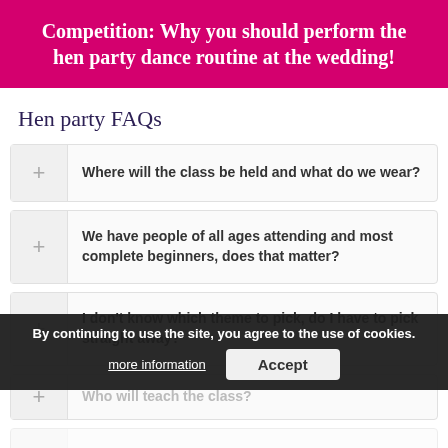Competition: Why you should perform the hen party dance routine at the wedding!
Hen party FAQs
Where will the class be held and what do we wear?
We have people of all ages attending and most complete beginners, does that matter?
I don't know which theme to pick, do I have to pick straight away?
Who will teach the class?
We have a special song we want to dance to, can you prepare a dance?
By continuing to use the site, you agree to the use of cookies.
more information   Accept